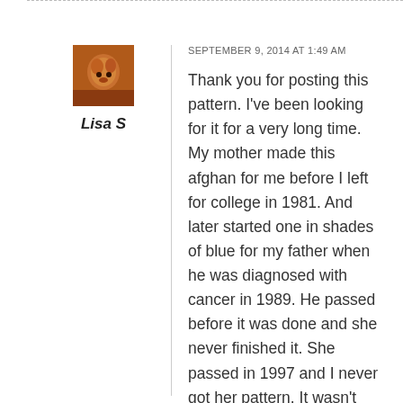[Figure (photo): Small square avatar photo of a person, warm orange/brown tones]
Lisa S
SEPTEMBER 9, 2014 AT 1:49 AM
Thank you for posting this pattern. I've been looking for it for a very long time. My mother made this afghan for me before I left for college in 1981. And later started one in shades of blue for my father when he was diagnosed with cancer in 1989. He passed before it was done and she never finished it. She passed in 1997 and I never got her pattern. It wasn't written down anywhere, just worked